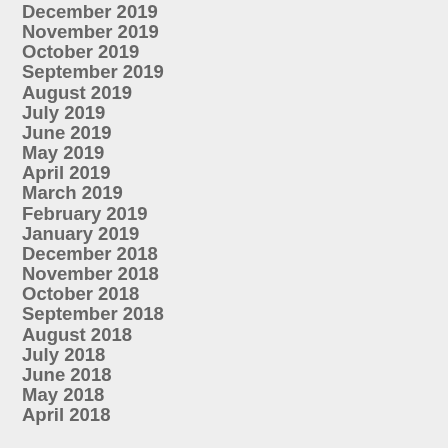December 2019
November 2019
October 2019
September 2019
August 2019
July 2019
June 2019
May 2019
April 2019
March 2019
February 2019
January 2019
December 2018
November 2018
October 2018
September 2018
August 2018
July 2018
June 2018
May 2018
April 2018